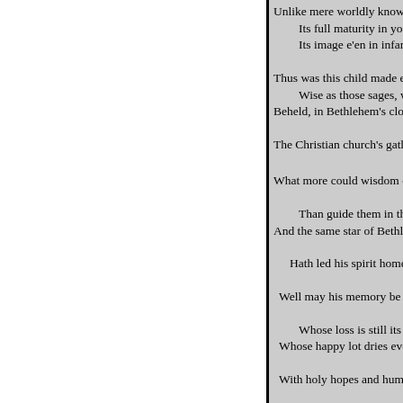Unlike mere worldly know
Its full maturity in youth,
Its image e'en in infant mi

Thus was this child made ea
Wise as those sages, who, t
Beheld, in Bethlehem's clou

The Christian church's gathering

What more could wisdom do for

Than guide them in the pa
And the same star of Bethle

Hath led his spirit home to Go

Well may his memory be dear,

Whose loss is still its sole
Whose happy lot dries ever

With holy hopes and humble j

"The brightest star of mor